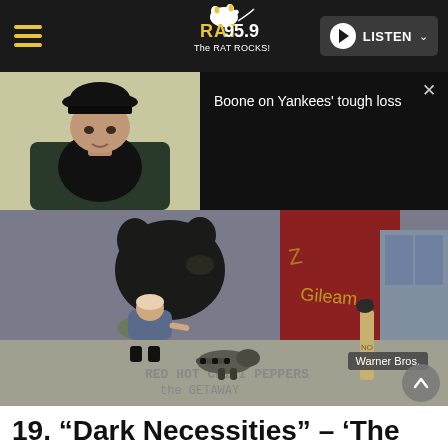RAT 95.9 The RAT ROCKS! — LISTEN
[Figure (photo): Video thumbnail showing a man in a black cap seated, with text overlay 'Boone on Yankees' tough loss' and a close button X]
[Figure (photo): Red Hot Chili Peppers 'The Getaway' album art showing a girl walking with a bear and raccoon on a street, graffiti background. 'Warner Bros.' credit badge in lower right.]
19. “Dark Necessities” – ‘The Getaway’ (2016)